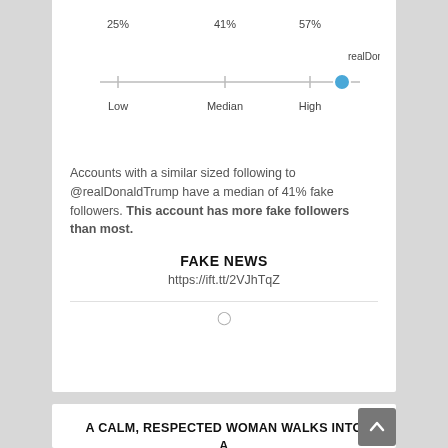[Figure (continuous-plot): A dot-plot / slider showing realDonaldTrump's fake follower percentage (~71%) compared to accounts with similar following. Axis labels: 25%, 41%, 57% at Low, Median, High. A blue dot marks realDonaldTrump's position beyond 57% (High).]
Accounts with a similar sized following to @realDonaldTrump have a median of 41% fake followers. This account has more fake followers than most.
FAKE NEWS
https://ift.tt/2VJhTqZ
A CALM, RESPECTED WOMAN WALKS INTO A PHARMACY